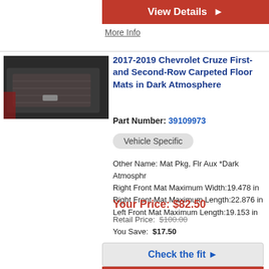View Details ▶
More Info
[Figure (photo): Dark carpeted floor mats for Chevrolet Cruze shown installed in vehicle]
2017-2019 Chevrolet Cruze First-and Second-Row Carpeted Floor Mats in Dark Atmosphere
Part Number: 39109973
Vehicle Specific
Other Name: Mat Pkg, Flr Aux *Dark Atmosphr
Right Front Mat Maximum Width:19.478 in
Right Front Mat Maximum Length:22.876 in
Left Front Mat Maximum Length:19.153 in
Your Price: $82.50
Retail Price: $100.00
You Save: $17.50
Check the fit ▶
View Details ▶